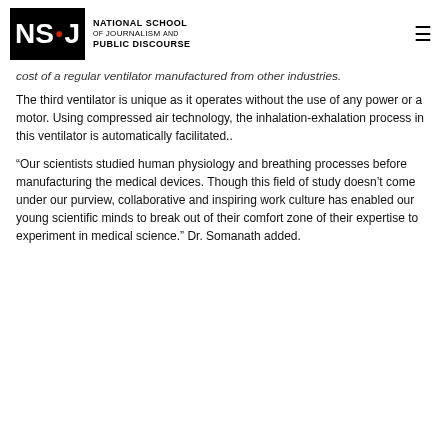NSJ — NATIONAL SCHOOL OF JOURNALISM AND PUBLIC DISCOURSE
cost of a regular ventilator manufactured from other industries.
The third ventilator is unique as it operates without the use of any power or a motor. Using compressed air technology, the inhalation-exhalation process in this ventilator is automatically facilitated..
“Our scientists studied human physiology and breathing processes before manufacturing the medical devices. Though this field of study doesn’t come under our purview, collaborative and inspiring work culture has enabled our young scientific minds to break out of their comfort zone of their expertise to experiment in medical science.” Dr. Somanath added.